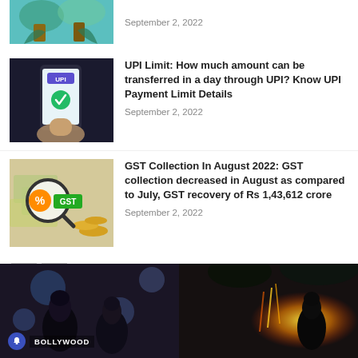[Figure (photo): Partial top article thumbnail with Finance label, teal background with hands graphic]
September 2, 2022
[Figure (photo): Hand holding smartphone with UPI app open, dark background, Finance label]
UPI Limit: How much amount can be transferred in a day through UPI? Know UPI Payment Limit Details
September 2, 2022
[Figure (photo): GST Collection image with magnifying glass showing percent sign over GST label, Finance label]
GST Collection In August 2022: GST collection decreased in August as compared to July, GST recovery of Rs 1,43,612 crore
September 2, 2022
[Figure (photo): Bollywood section banner showing two movie scenes side by side, dark cinematic photos with BOLLYWOOD label and bell icon]